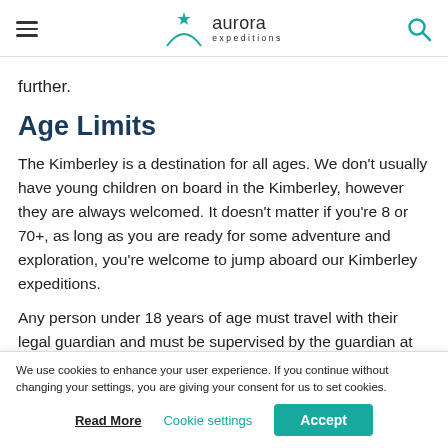Aurora Expeditions — navigation header with hamburger menu, logo, and search icon
further.
Age Limits
The Kimberley is a destination for all ages. We don't usually have young children on board in the Kimberley, however they are always welcomed. It doesn't matter if you're 8 or 70+, as long as you are ready for some adventure and exploration, you're welcome to jump aboard our Kimberley expeditions.
Any person under 18 years of age must travel with their legal guardian and must be supervised by the guardian at all times.
We use cookies to enhance your user experience. If you continue without changing your settings, you are giving your consent for us to set cookies.